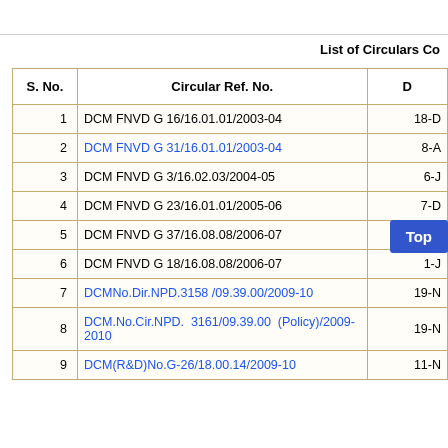List of Circulars Co
| S. No. | Circular Ref. No. | D |
| --- | --- | --- |
| 1 | DCM FNVD G 16/16.01.01/2003-04 | 18-D |
| 2 | DCM FNVD G 31/16.01.01/2003-04 | 8-A |
| 3 | DCM FNVD G 3/16.02.03/2004-05 | 6-J |
| 4 | DCM FNVD G 23/16.01.01/2005-06 | 7-D |
| 5 | DCM FNVD G 37/16.08.08/2006-07 | 28-N |
| 6 | DCM FNVD G 18/16.08.08/2006-07 | 1-J |
| 7 | DCMNo.Dir.NPD.3158 /09.39.00/2009-10 | 19-N |
| 8 | DCM.No.Cir.NPD. 3161/09.39.00 (Policy)/2009-2010 | 19-N |
| 9 | DCM(R&D)No.G-26/18.00.14/2009-10 | 11-N |